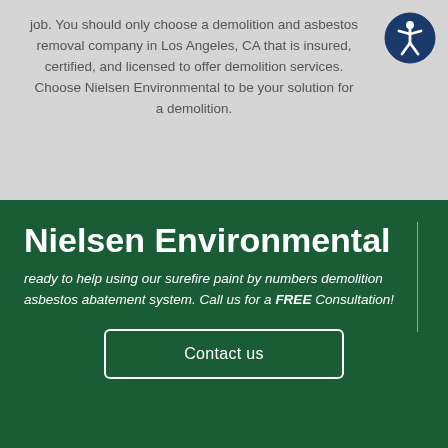job. You should only choose a demolition and asbestos removal company in Los Angeles, CA that is insured, certified, and licensed to offer demolition services. Choose Nielsen Environmental to be your solution for a demolition.
[Figure (illustration): Accessibility icon: dark blue circle with white human figure in universal accessibility pose]
Nielsen Environmental
ready to help using our surefire paint by numbers demolition asbestos abatement system. Call us for a FREE Consultation!
Contact us